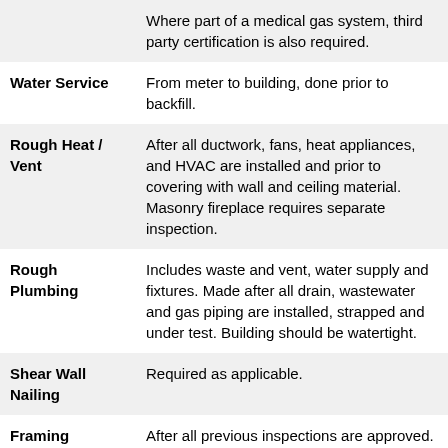| Inspection Type | Description |
| --- | --- |
|  | Where part of a medical gas system, third party certification is also required. |
| Water Service | From meter to building, done prior to backfill. |
| Rough Heat / Vent | After all ductwork, fans, heat appliances, and HVAC are installed and prior to covering with wall and ceiling material. Masonry fireplace requires separate inspection. |
| Rough Plumbing | Includes waste and vent, water supply and fixtures. Made after all drain, wastewater and gas piping are installed, strapped and under test. Building should be watertight. |
| Shear Wall Nailing | Required as applicable. |
| Framing | After all previous inspections are approved. The rough electrical is to be |